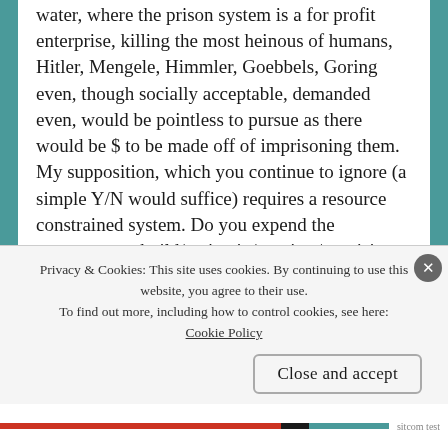water, where the prison system is a for profit enterprise, killing the most heinous of humans, Hitler, Mengele, Himmler, Goebbels, Goring even, though socially acceptable, demanded even, would be pointless to pursue as there would be $ to be made off of imprisoning them.
My supposition, which you continue to ignore (a simple Y/N would suffice) requires a resource constrained system. Do you expend the manpower to build/maintain/monitor/provision a prison system, even for one man, when your resource limited social group cannot afford it?
Today’s government states that 18 is the childhood
Privacy & Cookies: This site uses cookies. By continuing to use this website, you agree to their use.
To find out more, including how to control cookies, see here: Cookie Policy
Close and accept